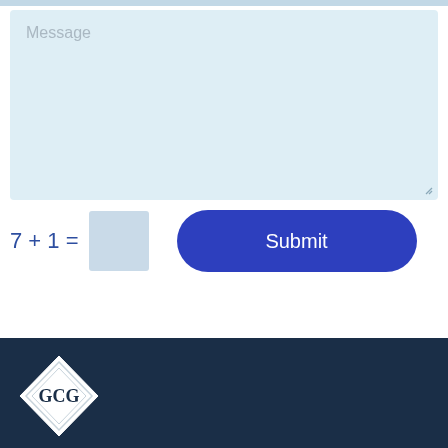Message
7 + 1 =
Submit
[Figure (logo): GCG diamond-shaped logo with text GCG inside, white on dark navy background]